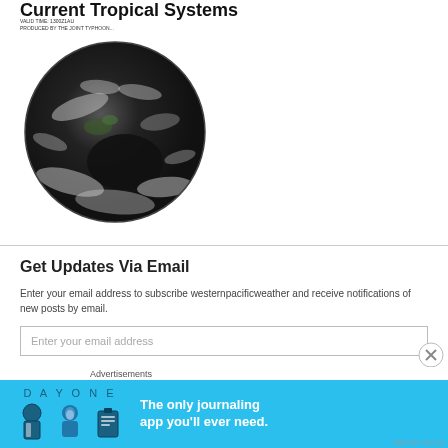Current Tropical Systems
[Figure (photo): Satellite image of Earth (globe view) showing cloud cover over the Pacific/Asia-Australia region. Small text: VALID TIME: 1300Z1AU, PRODUCED BY THE JOINT TYPHOON...]
Get Updates Via Email
Enter your email address to subscribe westernpacificweather and receive notifications of new posts by email.
Enter your email address
[Figure (infographic): Advertisement banner: DAY ONE journaling app. Blue background with illustrated icons (book, person, notepad). Text: The only journaling app you'll ever need.]